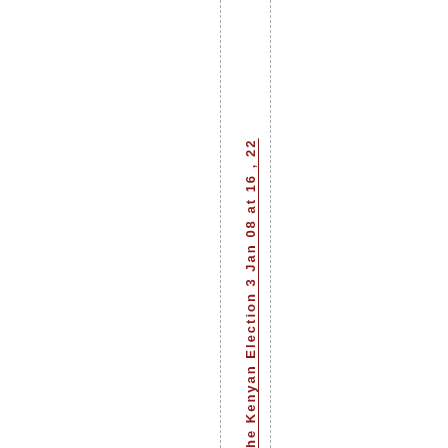he Kenyan Election 3 Jan 08 at 16, 22